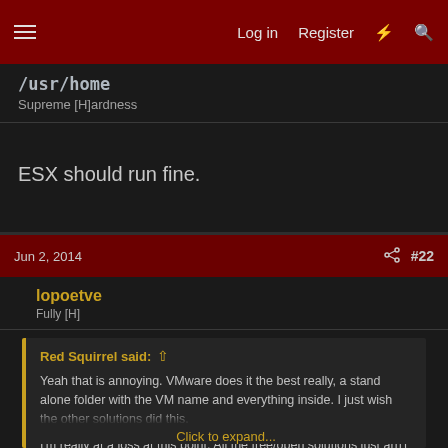Log in  Register  #22
/usr/home
Supreme [H]ardness
ESX should run fine.
Jun 2, 2014  #22
lopoetve
Fully [H]
Red Squirrel said: ↑
Yeah that is annoying. VMware does it the best really, a stand alone folder with the VM name and everything inside. I just wish the other solutions did this.

I'm really at a loss at this point, All the free/open solutions just arn't working out for me.

I still can't believe how OLVM is though... Windows really
Click to expand...